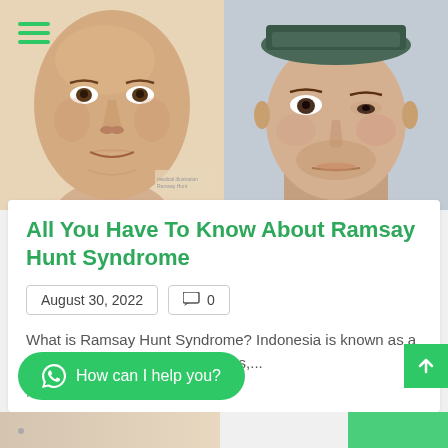[Figure (photo): Two side-by-side face photos: left is a medical illustration of a man showing facial features associated with Ramsay Hunt Syndrome; right is a close-up photo of a young man wearing a hat with visible facial asymmetry.]
All You Have To Know About Ramsay Hunt Syndrome
August 30, 2022
0
What is Ramsay Hunt Syndrome? Indonesia is known as a tropical country with two seasons,...
Posted in: Global Health
How can I help you?